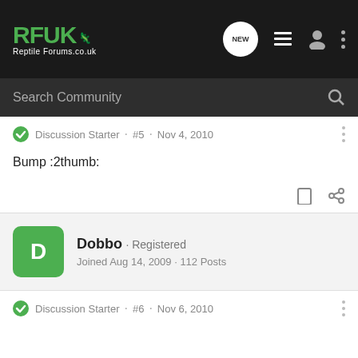RFUK Reptile Forums.co.uk — Navigation bar with search
Discussion Starter · #5 · Nov 4, 2010
Bump :2thumb:
Dobbo · Registered
Joined Aug 14, 2009 · 112 Posts
Discussion Starter · #6 · Nov 6, 2010